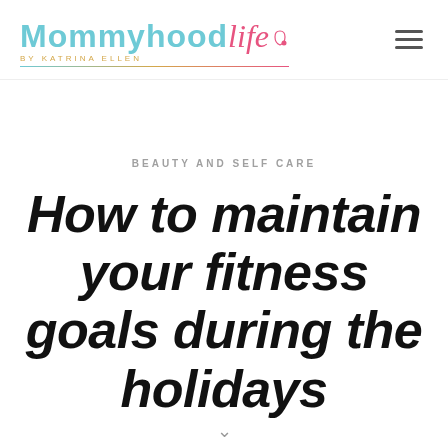Mommyhoodlife by Katrina Ellen
BEAUTY AND SELF CARE
How to maintain your fitness goals during the holidays